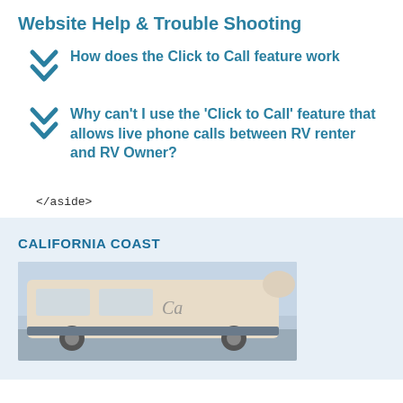Website Help & Trouble Shooting
How does the Click to Call feature work
Why can't I use the 'Click to Call' feature that allows live phone calls between RV renter and RV Owner?
</aside>
CALIFORNIA COAST
[Figure (photo): Photo of an RV or recreational vehicle, showing the side/front of the vehicle against a light sky background]